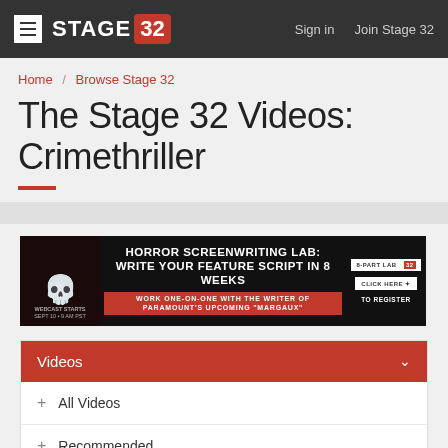≡ STAGE 32  Sign in  Join Stage 32
Home / Browse Stage 32
The Stage 32 Videos: Crimethriller
[Figure (infographic): Advertisement banner for Horror Screenwriting Lab: Write Your Feature Script in 8 Weeks. Work one-on-one with the writer of Paramount's upcoming Margaux. Webcast starts Sept 10, 9 AM PST. 8-Part Lab. Stage 32. Click here to register.]
Videos
+ All Videos
+ Recommended